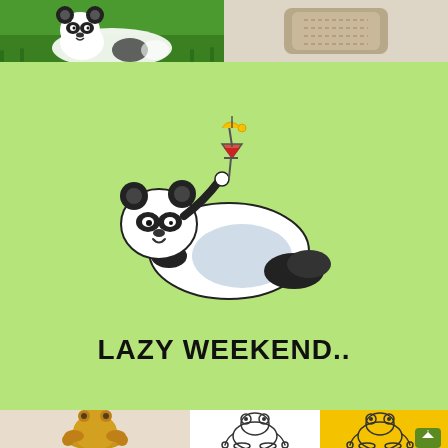[Figure (photo): Photo of a giant panda lying on green grass]
[Figure (photo): Photo of a handcrafted or decorative item on a light surface]
[Figure (illustration): Cartoon panda lying on its back holding a cocktail drink on a light green background with text LAZY WEEKEND..]
[Figure (photo): Gold-colored frog statue in meditation/yoga pose]
[Figure (illustration): Line drawing of a frog in meditation/yoga pose]
[Figure (illustration): Line drawing of a frog in meditation/yoga pose on yellow background]